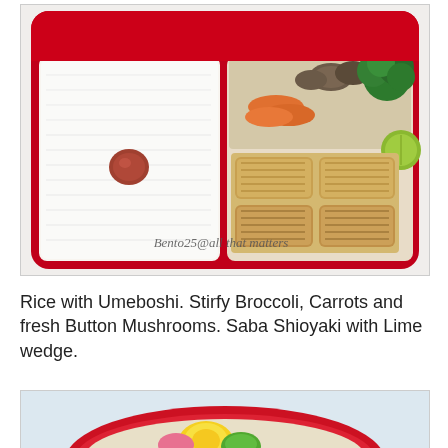[Figure (photo): A red bento box with two compartments: left compartment filled with white rice topped with an umeboshi (pickled plum), right compartment containing Saba Shioyaki (grilled mackerel), stir-fried broccoli, carrots, button mushrooms, and a lime wedge. Watermark text reads: Bento25@all that matters]
Rice with Umeboshi. Stirfy Broccoli, Carrots and fresh Button Mushrooms. Saba Shioyaki with Lime wedge.
[Figure (photo): Partial view of another bento box with colorful food items including what appears to be a fried egg and vegetables in a red container.]